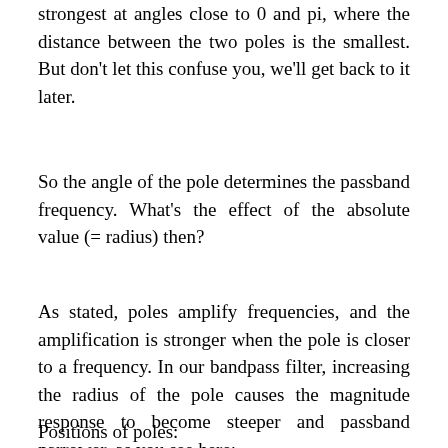strongest at angles close to 0 and pi, where the distance between the two poles is the smallest. But don't let this confuse you, we'll get back to it later.
So the angle of the pole determines the passband frequency. What's the effect of the absolute value (= radius) then?
As stated, poles amplify frequencies, and the amplification is stronger when the pole is closer to a frequency. In our bandpass filter, increasing the radius of the pole causes the magnitude response to become steeper and passband narrower, as you see here:
Positions of poles: